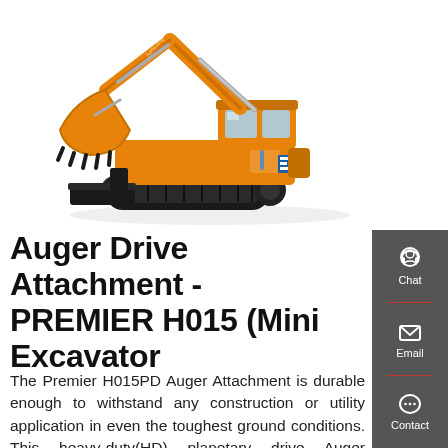[Figure (photo): Orange/yellow mini excavator (tracked) shown from the side, with raised boom and bucket, and a front blade. The excavator has a cab with windows and appears to be a compact construction machine.]
Auger Drive Attachment - PREMIER H015 (Mini Excavator
The Premier H015PD Auger Attachment is durable enough to withstand any construction or utility application in even the toughest ground conditions. This heavy-duty(HD) planetary drive Auger produces